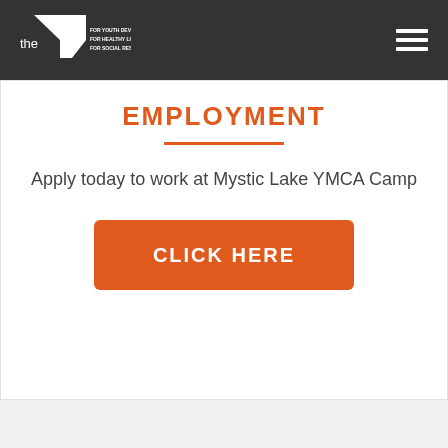YMCA Logo — the Y FOR YOUTH DEVELOPMENT FOR HEALTHY LIVING FOR SOCIAL RESPONSIBILITY
EMPLOYMENT
Apply today to work at Mystic Lake YMCA Camp
CLICK HERE